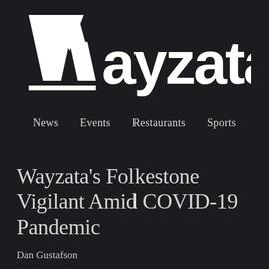[Figure (logo): Wayzata.com logo with stylized W and text in white on dark background]
News   Events   Restaurants   Sports
Wayzata's Folkestone Vigilant Amid COVID-19 Pandemic
Dan Gustafson